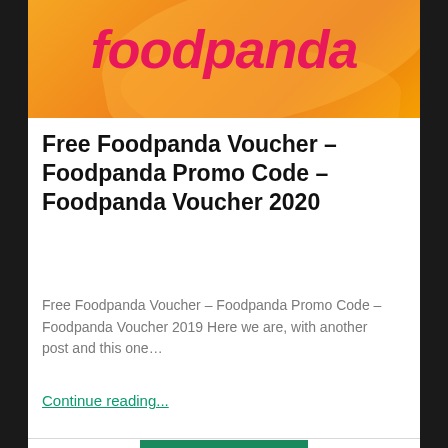[Figure (logo): Foodpanda logo in pink italic text on orange gradient background with swoosh decorations]
Free Foodpanda Voucher – Foodpanda Promo Code – Foodpanda Voucher 2020
Free Foodpanda Voucher – Foodpanda Promo Code – Foodpanda Voucher 2019 Here we are, with another post and this one…
Continue reading...
August 19, 2022